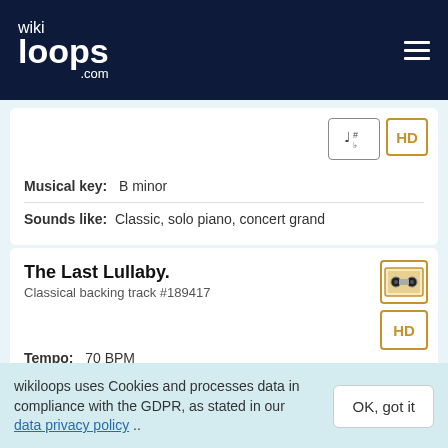wikiloops.com
Musical key: B minor
Sounds like: Classic, solo piano, concert grand
The Last Lullaby.
Classical backing track #189417
Tempo: 70 BPM
Musical key: B minor
wikiloops uses Cookies and processes data in compliance with the GDPR, as stated in our data privacy policy ..